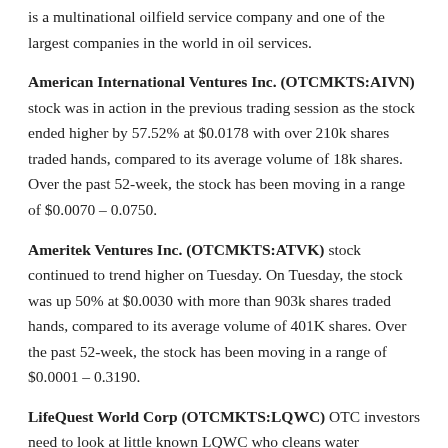is a multinational oilfield service company and one of the largest companies in the world in oil services.
American International Ventures Inc. (OTCMKTS:AIVN) stock was in action in the previous trading session as the stock ended higher by 57.52% at $0.0178 with over 210k shares traded hands, compared to its average volume of 18k shares. Over the past 52-week, the stock has been moving in a range of $0.0070 – 0.0750.
Ameritek Ventures Inc. (OTCMKTS:ATVK) stock continued to trend higher on Tuesday. On Tuesday, the stock was up 50% at $0.0030 with more than 903k shares traded hands, compared to its average volume of 401K shares. Over the past 52-week, the stock has been moving in a range of $0.0001 – 0.3190.
LifeQuest World Corp (OTCMKTS:LQWC) OTC investors need to look at little known LQWC who cleans water worldwide for governments, commercial businesses and consumers. It is a green company taking sludge, grease and fats out of dirty water. The result is the answer bio gas. The generated gas can be used for clean energy and...